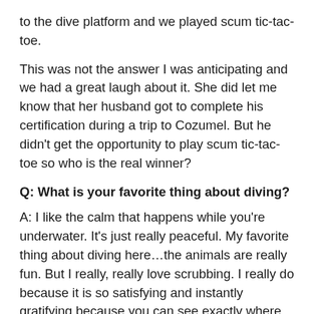to the dive platform and we played scum tic-tac-toe.
This was not the answer I was anticipating and we had a great laugh about it. She did let me know that her husband got to complete his certification during a trip to Cozumel. But he didn't get the opportunity to play scum tic-tac-toe so who is the real winner?
Q: What is your favorite thing about diving?
A: I like the calm that happens while you're underwater. It's just really peaceful. My favorite thing about diving here…the animals are really fun. But I really, really love scrubbing. I really do because it is so satisfying and instantly gratifying because you can see exactly where you have scrubbed. It's like coloring in reverse!